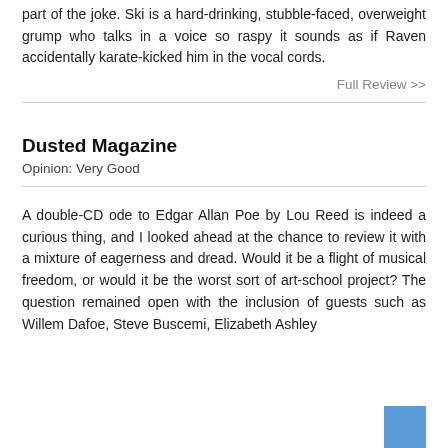part of the joke. Ski is a hard-drinking, stubble-faced, overweight grump who talks in a voice so raspy it sounds as if Raven accidentally karate-kicked him in the vocal cords.
Full Review >>
Dusted Magazine
Opinion: Very Good
A double-CD ode to Edgar Allan Poe by Lou Reed is indeed a curious thing, and I looked ahead at the chance to review it with a mixture of eagerness and dread. Would it be a flight of musical freedom, or would it be the worst sort of art-school project? The question remained open with the inclusion of guests such as Willem Dafoe, Steve Buscemi, Elizabeth Ashley...